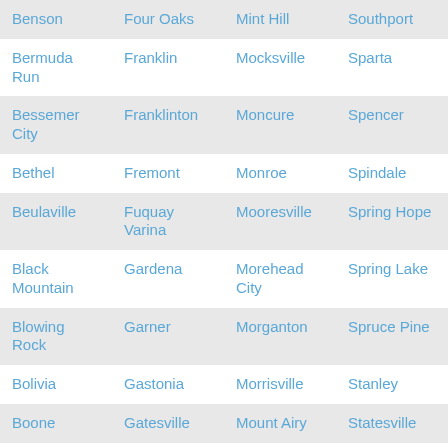| Benson | Four Oaks | Mint Hill | Southport |
| Bermuda Run | Franklin | Mocksville | Sparta |
| Bessemer City | Franklinton | Moncure | Spencer |
| Bethel | Fremont | Monroe | Spindale |
| Beulaville | Fuquay Varina | Mooresville | Spring Hope |
| Black Mountain | Gardena | Morehead City | Spring Lake |
| Blowing Rock | Garner | Morganton | Spruce Pine |
| Bolivia | Gastonia | Morrisville | Stanley |
| Boone | Gatesville | Mount Airy | Statesville |
| Brevard | Goldsboro | Mount Gilead | Stedman |